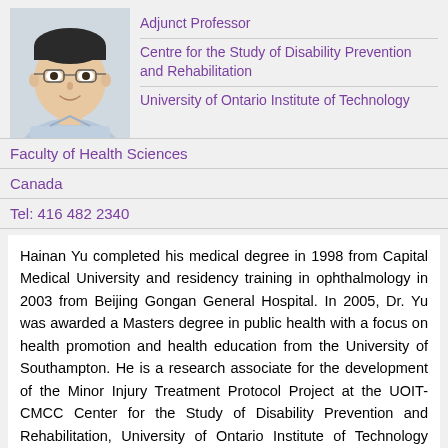[Figure (photo): Headshot photo of Hainan Yu, an Asian man wearing glasses and a light blue collared shirt, smiling]
Adjunct Professor
Centre for the Study of Disability Prevention and Rehabilitation
University of Ontario Institute of Technology
Faculty of Health Sciences
Canada
Tel: 416 482 2340
Hainan Yu completed his medical degree in 1998 from Capital Medical University and residency training in ophthalmology in 2003 from Beijing Gongan General Hospital. In 2005, Dr. Yu was awarded a Masters degree in public health with a focus on health promotion and health education from the University of Southampton. He is a research associate for the development of the Minor Injury Treatment Protocol Project at the UOIT-CMCC Center for the Study of Disability Prevention and Rehabilitation, University of Ontario Institute of Technology (UOIT) and Canadian Memorial Chiropractic College (CMCC). He is responsible for infrastructure